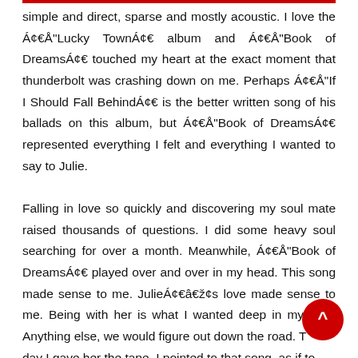simple and direct, sparse and mostly acoustic. I love the Á¢€Å"Lucky TownÁ¢€ album and Á¢€Å"Book of DreamsÁ¢€ touched my heart at the exact moment that thunderbolt was crashing down on me. Perhaps Á¢€Å"If I Should Fall BehindÁ¢€ is the better written song of his ballads on this album, but Á¢€Å"Book of DreamsÁ¢€ represented everything I felt and everything I wanted to say to Julie.

Falling in love so quickly and discovering my soul mate raised thousands of questions. I did some heavy soul searching for over a month. Meanwhile, Á¢€Å"Book of DreamsÁ¢€ played over and over in my head. This song made sense to me. JulieÁ¢€â„¢s love made sense to me. Being with her is what I wanted deep in my soul. Anything else, we would figure out down the road. The day I gave her the tape, I pointed to that song, as if to